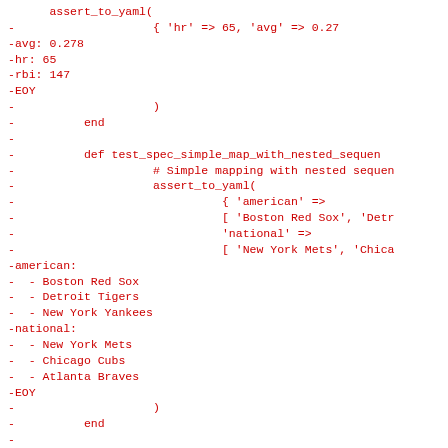assert_to_yaml(
-                    { 'hr' => 65, 'avg' => 0.27
-avg: 0.278
-hr: 65
-rbi: 147
-EOY
-                    )
-          end
-
-          def test_spec_simple_map_with_nested_sequen
-                    # Simple mapping with nested sequen
-                    assert_to_yaml(
-                              { 'american' =>
-                              [ 'Boston Red Sox', 'Detr
-                              'national' =>
-                              [ 'New York Mets', 'Chica
-american:
-  - Boston Red Sox
-  - Detroit Tigers
-  - New York Yankees
-national:
-  - New York Mets
-  - Chicago Cubs
-  - Atlanta Braves
-EOY
-                    )
-          end
-
-          def test_spec_simple_sequence_with_nested_m
-                    # Simple sequence with nested map
-                    assert_to_yaml(